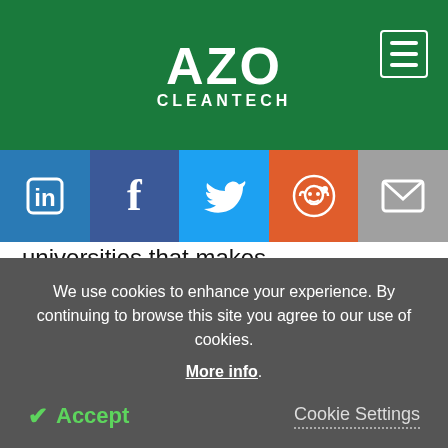AZO CLEANTECH
universities that makes recommendations on energy modeling to the Swiss Federal Council.
The model being used by the Swiss government is not open source one and was created in the private sector. The EPFL scientists are now planning to outline a more aspiring strategy that would further
We use cookies to enhance your experience. By continuing to browse this site you agree to our use of cookies. More info.
Accept
Cookie Settings